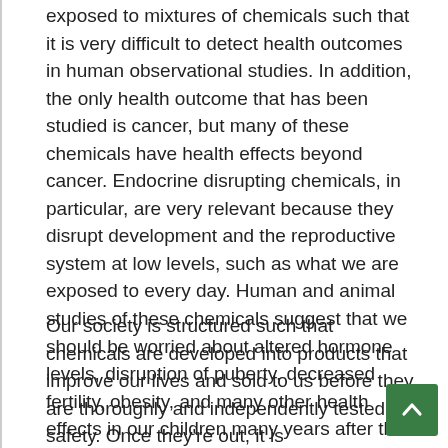exposed to mixtures of chemicals such that it is very difficult to detect health outcomes in human observational studies. In addition, the only health outcome that has been studied is cancer, but many of these chemicals have health effects beyond cancer. Endocrine disrupting chemicals, in particular, are very relevant because they disrupt development and the reproductive system at low levels, such as what we are exposed to every day. Human and animal studies of these chemicals suggest that we should be worried about altered hormone levels, disruption of puberty, decreased fertility, obesity, and many other health effects in our children many years after their exposure to turf and similar compounds.
Our society is structured such that chemicals are developed into products that improve our lives and sold to us before they are thoroughly and independently tested for safety. Once they're out, it is